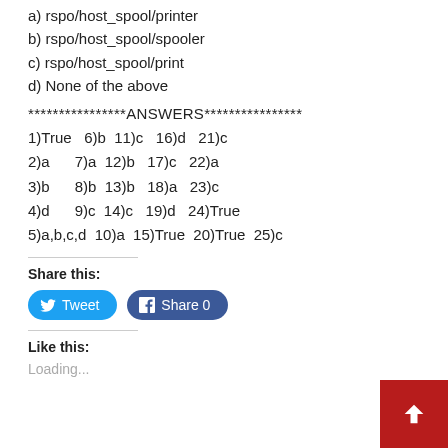a) rspo/host_spool/printer
b) rspo/host_spool/spooler
c) rspo/host_spool/print
d) None of the above
****************ANSWERS****************
1)True   6)b  11)c   16)d   21)c
2)a      7)a  12)b   17)c   22)a
3)b      8)b  13)b   18)a   23)c
4)d      9)c  14)c   19)d   24)True
5)a,b,c,d  10)a  15)True  20)True  25)c
Share this:
[Figure (other): Tweet button (Twitter) and Share 0 button (Facebook)]
Like this:
Loading...